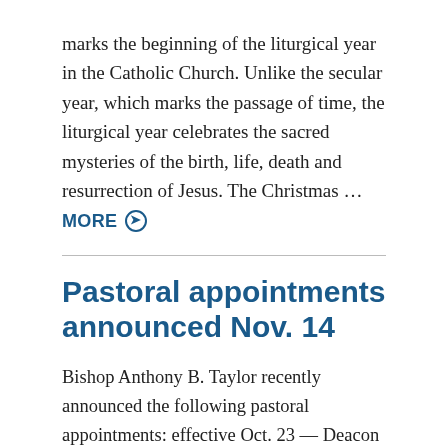marks the beginning of the liturgical year in the Catholic Church. Unlike the secular year, which marks the passage of time, the liturgical year celebrates the sacred mysteries of the birth, life, death and resurrection of Jesus. The Christmas … MORE ⊙
Pastoral appointments announced Nov. 14
Bishop Anthony B. Taylor recently announced the following pastoral appointments: effective Oct. 23 — Deacon William L. Friedman is excardinated from the Diocese of Dallas and incardinated into the Diocese of Little Rock; effective Nov. 10 — Father Vincent Flusche has resigned from priestly ministry; effective Nov. 14 — Father John C. Wakube, AJ, appointed temporary